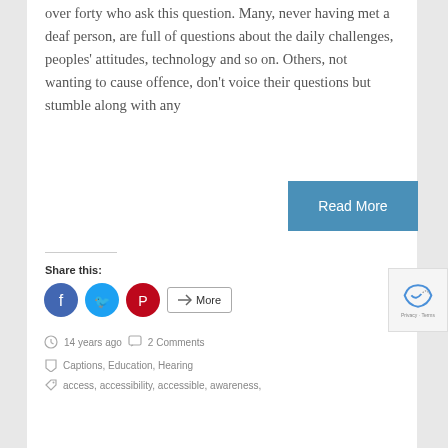over forty who ask this question. Many, never having met a deaf person, are full of questions about the daily challenges, peoples' attitudes, technology and so on. Others, not wanting to cause offence, don't voice their questions but stumble along with any
Read More
Share this:
[Figure (other): Social share buttons: Facebook (blue circle), Twitter (light blue circle), Pinterest (red circle), and a More button with share icon]
14 years ago   2 Comments
Captions, Education, Hearing
access, accessibility, accessible, awareness,